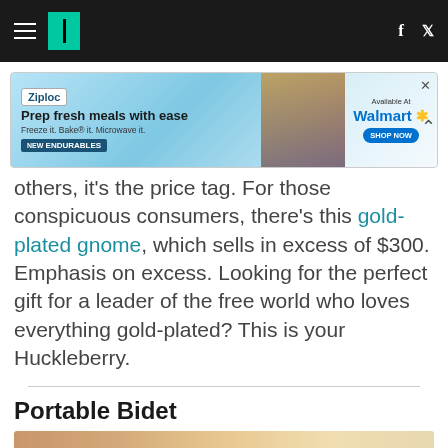HuffPost navigation with hamburger menu, logo, facebook and twitter icons
[Figure (other): Advertisement banner for Ziploc Endurables at Walmart: 'Prep fresh meals with ease. Freeze it. Bake it. Microwave it. NEW ENDURABLES. Available At Walmart.']
others, it's the price tag. For those conspicuous consumers, there's this gold-plated gnome, which sells in excess of $300. Emphasis on excess. Looking for the perfect gift for a leader of the free world who loves everything gold-plated? This is your Huckleberry.
Portable Bidet
[Figure (photo): Partial image of a portable bidet product, warm tan/gold background with indistinct objects visible at bottom of page]